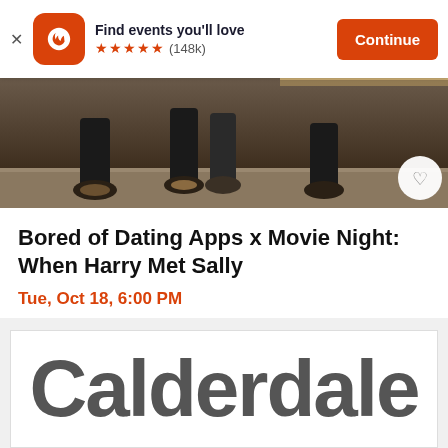[Figure (screenshot): App banner with Eventbrite logo, 'Find events you'll love' text, 5-star rating (148k reviews), and orange Continue button]
[Figure (photo): Cropped photo showing people's legs and feet at an event venue]
Bored of Dating Apps x Movie Night: When Harry Met Sally
Tue, Oct 18, 6:00 PM
Fact Liverpool • Liverpool
£15
[Figure (logo): Calderdale logo — large grey text 'Calderdale' inside a white box with border on light grey background]